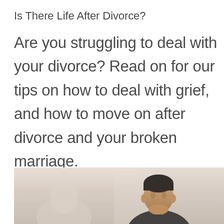Is There Life After Divorce?
Are you struggling to deal with your divorce? Read on for our tips on how to deal with grief, and how to move on after divorce and your broken marriage.
[Figure (photo): A person sitting, visible from the shoulders up, with short hair, photographed in a warm-toned interior setting with soft lighting.]